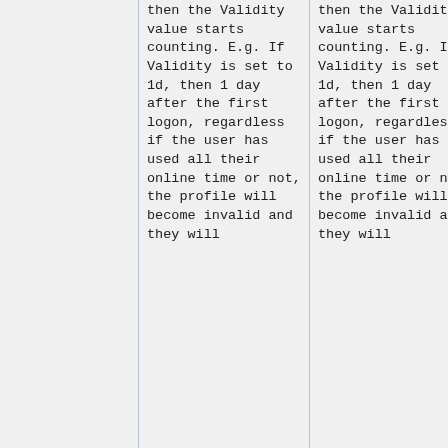then the Validity value starts counting. E.g. If Validity is set to 1d, then 1 day after the first logon, regardless if the user has used all their online time or not, the profile will become invalid and they will
then the Validity value starts counting. E.g. If Validity is set to 1d, then 1 day after the first logon, regardless if the user has used all their online time or not, the profile will become invalid and they will